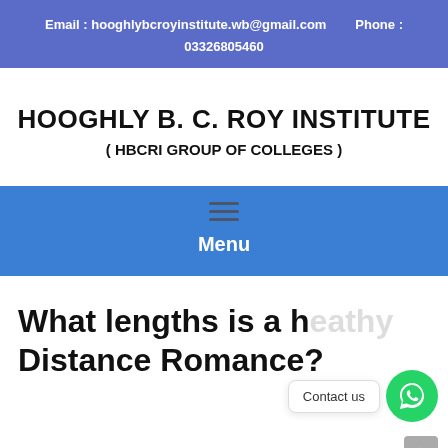Email : hooghlybcroyinstitute.wb@gmail.com   Phone :   03326805460
HOOGHLY B. C. ROY INSTITUTE
( HBCRI GROUP OF COLLEGES )
Menu
What lengths is a Lengthy Distance Romance?